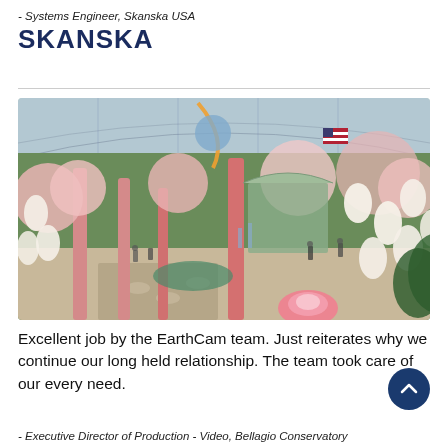- Systems Engineer, Skanska USA
SKANSKA
[Figure (photo): Interior of the Bellagio Conservatory decorated with a Japanese-themed spring display featuring large pink columns, cherry blossom trees, paper lanterns, ornate structures, and an arched glass ceiling.]
Excellent job by the EarthCam team. Just reiterates why we continue our long held relationship. The team took care of our every need.
- Executive Director of Production - Video, Bellagio Conservatory